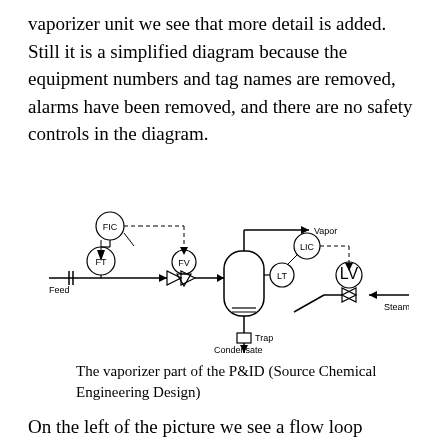vaporizer unit we see that more detail is added. Still it is a simplified diagram because the equipment numbers and tag names are removed, alarms have been removed, and there are no safety controls in the diagram.
[Figure (schematic): P&ID schematic of a vaporizer unit showing Feed input with FT (flow transmitter) and FIC (flow indicator controller) on the left, FV (flow valve) in the middle-left, a vaporizer vessel in the center with LT (level transmitter) and LIC (level indicator controller) on the right side, LV (level valve) on the right, Vapor output at the top right, Steam input from the right bottom, Trap and Condensate output at the bottom.]
The vaporizer part of the P&ID (Source Chemical Engineering Design)
On the left of the picture we see a flow loop